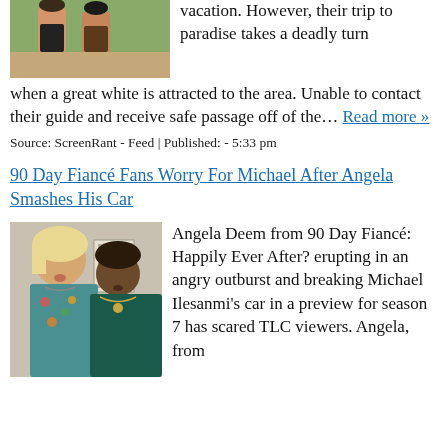[Figure (photo): Two women outdoors, one in a black floral outfit]
vacation. However, their trip to paradise takes a deadly turn when a great white is attracted to the area. Unable to contact their guide and receive safe passage off of the… Read more »
Source: ScreenRant - Feed | Published: - 5:33 pm
90 Day Fiancé Fans Worry For Michael After Angela Smashes His Car
[Figure (photo): Angela Deem and Michael Ilesanmi from 90 Day Fiancé]
Angela Deem from 90 Day Fiancé: Happily Ever After? erupting in an angry outburst and breaking Michael Ilesanmi's car in a preview for season 7 has scared TLC viewers. Angela, from